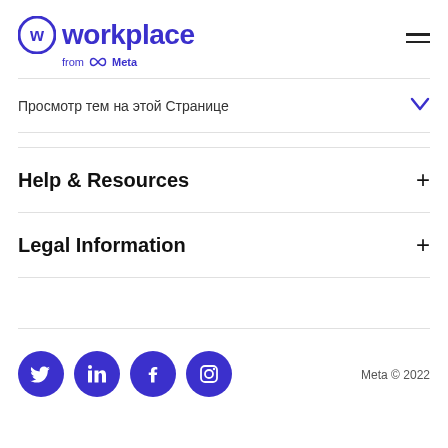[Figure (logo): Workplace from Meta logo — circular W icon in indigo/purple with 'workplace' text and 'from Meta' subtext below]
Просмотр тем на этой Странице
Help & Resources
Legal Information
Meta © 2022